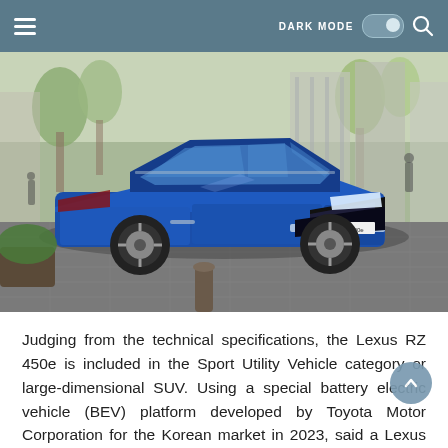≡  DARK MODE  🔍
[Figure (photo): A blue Lexus UX 300e electric SUV parked on a brick paved street in an urban setting with trees and buildings in the background]
Judging from the technical specifications, the Lexus RZ 450e is included in the Sport Utility Vehicle category or large-dimensional SUV. Using a special battery electric vehicle (BEV) platform developed by Toyota Motor Corporation for the Korean market in 2023, said a Lexus Korea official quoted